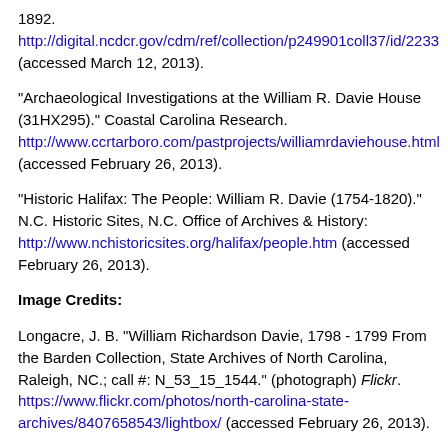1892. http://digital.ncdcr.gov/cdm/ref/collection/p249901coll37/id/2233 (accessed March 12, 2013).
"Archaeological Investigations at the William R. Davie House (31HX295)." Coastal Carolina Research. http://www.ccrtarboro.com/pastprojects/williamrdaviehouse.html (accessed February 26, 2013).
"Historic Halifax: The People: William R. Davie (1754-1820)." N.C. Historic Sites, N.C. Office of Archives & History: http://www.nchistoricsites.org/halifax/people.htm (accessed February 26, 2013).
Image Credits:
Longacre, J. B. "William Richardson Davie, 1798 - 1799 From the Barden Collection, State Archives of North Carolina, Raleigh, NC.; call #: N_53_15_1544." (photograph) Flickr. https://www.flickr.com/photos/north-carolina-state-archives/8407658543/lightbox/ (accessed February 26, 2013).
Peale, Charles Willson. 1820. "William Richardson Davie." North